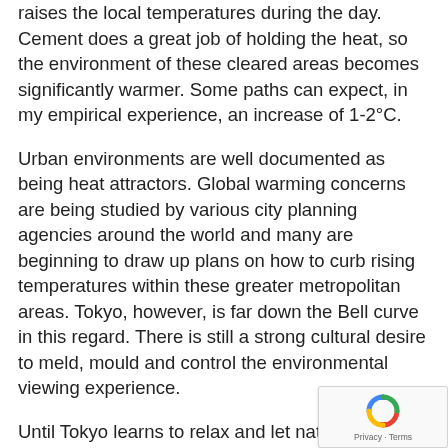raises the local temperatures during the day. Cement does a great job of holding the heat, so the environment of these cleared areas becomes significantly warmer. Some paths can expect, in my empirical experience, an increase of 1-2°C.
Urban environments are well documented as being heat attractors. Global warming concerns are being studied by various city planning agencies around the world and many are beginning to draw up plans on how to curb rising temperatures within these greater metropolitan areas. Tokyo, however, is far down the Bell curve in this regard. There is still a strong cultural desire to meld, mould and control the environmental viewing experience.
Until Tokyo learns to relax and let nature grow more freely, it will continue to do more to
[Figure (logo): reCAPTCHA badge in bottom-right corner with spinning arrows logo and Privacy · Terms text]